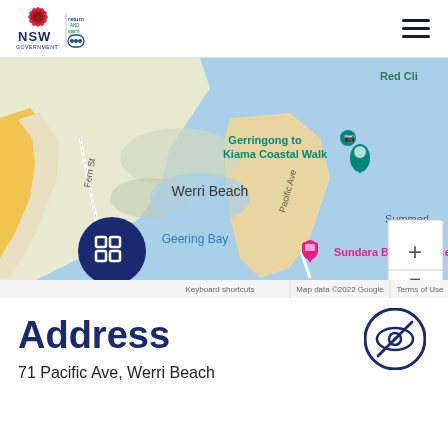NSW Government | Return and Earn
[Figure (map): Google Map showing Werri Beach area near Gerringong, NSW. Labels visible: Gerringong to Kiama Coastal Walk, Werri Beach, Geering Bay, Sundara Beach House, Pacific Ave, Fern St, Red Cli[ff], Summerl[and]. Map data ©2022 Google. Keyboard shortcuts | Terms of Use. Zoom controls (+/-) visible. Google logo and expand icon visible.]
Address
71 Pacific Ave, Werri Beach